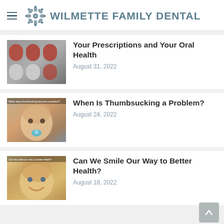WILMETTE FAMILY DENTAL
[Figure (photo): Close-up of red and white medication capsules in blister packaging]
Your Prescriptions and Your Oral Health
August 31, 2022
[Figure (photo): Baby with pacifier, text overlay reads 'When does thumbsucking become a problem?']
When Is Thumbsucking a Problem?
August 24, 2022
[Figure (photo): Smiling young child, text overlay reads 'Can we smile our way to better health?']
Can We Smile Our Way to Better Health?
August 18, 2022